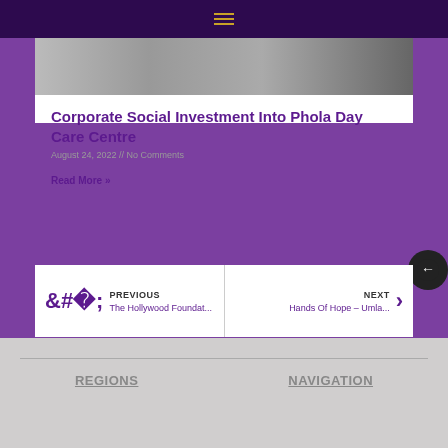[Figure (photo): A photo strip showing people outdoors]
Corporate Social Investment Into Phola Day Care Centre
August 24, 2022 // No Comments
Read More »
PREVIOUS
The Hollywood Foundat...
NEXT
Hands Of Hope – Umla...
REGIONS
NAVIGATION